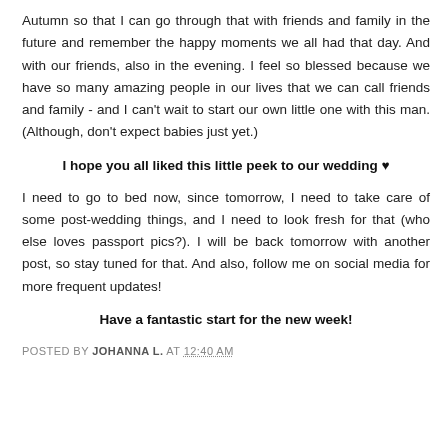Autumn so that I can go through that with friends and family in the future and remember the happy moments we all had that day. And with our friends, also in the evening. I feel so blessed because we have so many amazing people in our lives that we can call friends and family - and I can't wait to start our own little one with this man. (Although, don't expect babies just yet.)
I hope you all liked this little peek to our wedding ♥
I need to go to bed now, since tomorrow, I need to take care of some post-wedding things, and I need to look fresh for that (who else loves passport pics?). I will be back tomorrow with another post, so stay tuned for that. And also, follow me on social media for more frequent updates!
Have a fantastic start for the new week!
POSTED BY JOHANNA L. AT 12:40 AM